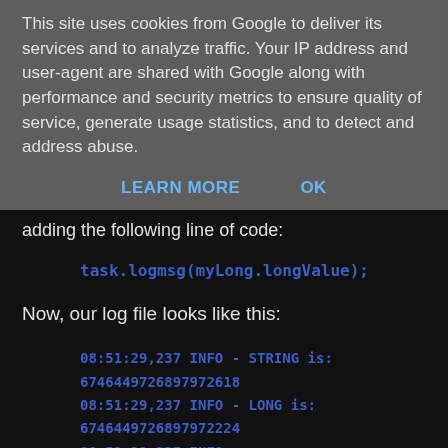This site uses cookies from Google to deliver its services and to analyze traffic. Your IP address and user-agent are shared with Google along with performance and security metrics to ensure quality of service, generate usage statistics, and to detect and address abuse.
LEARN MORE   OK
adding the following line of code:
task.logmsg(myLong.longValue);
Now, our log file looks like this:
08:51:29,237 INFO - STRING is: 6746449726897972618
08:51:29,237 INFO - LONG is: 6746449726897972224
08:51:29,237 INFO - 6746449726897972618